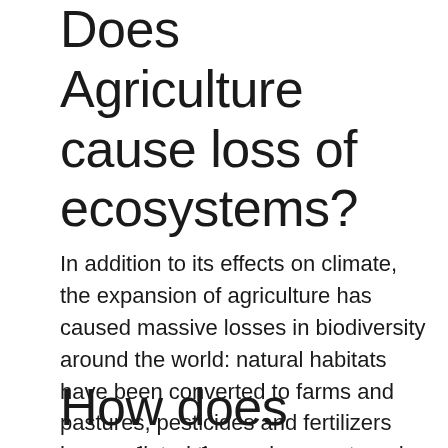Does Agriculture cause loss of ecosystems?
In addition to its effects on climate, the expansion of agriculture has caused massive losses in biodiversity around the world: natural habitats have been converted to farms and pastures, pesticides and fertilizers have polluted the environment, and soils have been degraded.
How does agriculture impact the world?